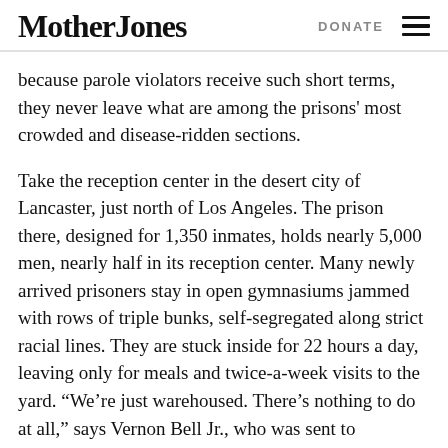Mother Jones  DONATE
because parole violators receive such short terms, they never leave what are among the prisons' most crowded and disease-ridden sections.
Take the reception center in the desert city of Lancaster, just north of Los Angeles. The prison there, designed for 1,350 inmates, holds nearly 5,000 men, nearly half in its reception center. Many newly arrived prisoners stay in open gymnasiums jammed with rows of triple bunks, self-segregated along strict racial lines. They are stuck inside for 22 hours a day, leaving only for meals and twice-a-week visits to the yard. “We’re just warehoused. There’s nothing to do at all,” says Vernon Bell Jr., who was sent to Lancaster for threatening his parole agent.